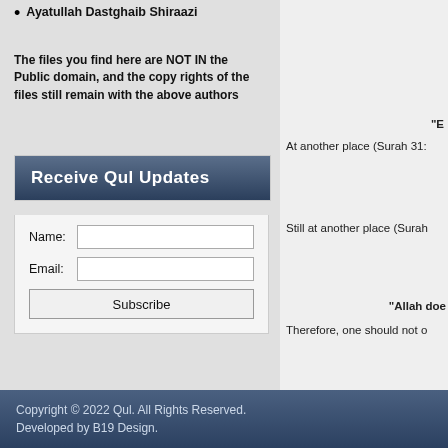Ayatullah Dastghaib Shiraazi
The files you find here are NOT IN the Public domain, and the copy rights of the files still remain with the above authors
Receive Qul Updates
Name: [input] Email: [input] Subscribe [button]
"E
At another place (Surah 31:
Still at another place (Surah
"Allah doe
Therefore, one should not o
Copyright © 2022 Qul. All Rights Reserved. Developed by B19 Design.